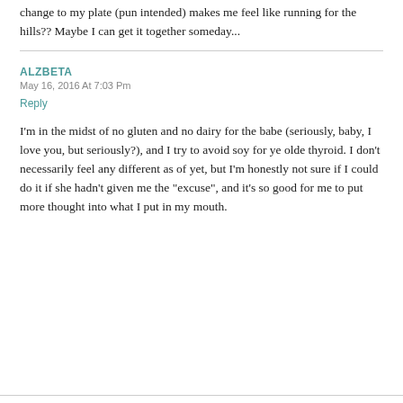change to my plate (pun intended) makes me feel like running for the hills?? Maybe I can get it together someday...
ALZBETA
May 16, 2016 At 7:03 Pm
Reply
I'm in the midst of no gluten and no dairy for the babe (seriously, baby, I love you, but seriously?), and I try to avoid soy for ye olde thyroid. I don't necessarily feel any different as of yet, but I'm honestly not sure if I could do it if she hadn't given me the “excuse”, and it's so good for me to put more thought into what I put in my mouth.